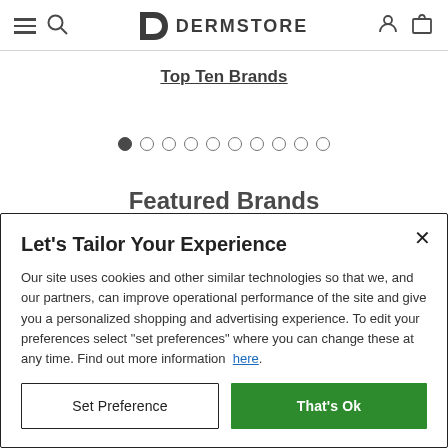Dermstore – navigation bar with hamburger menu, search, logo, user and cart icons
Top Ten Brands
[Figure (other): Carousel pagination dots: one filled dot (active) followed by nine empty dots]
Featured Brands (partially visible)
Let's Tailor Your Experience
Our site uses cookies and other similar technologies so that we, and our partners, can improve operational performance of the site and give you a personalized shopping and advertising experience. To edit your preferences select "set preferences" where you can change these at any time. Find out more information here.